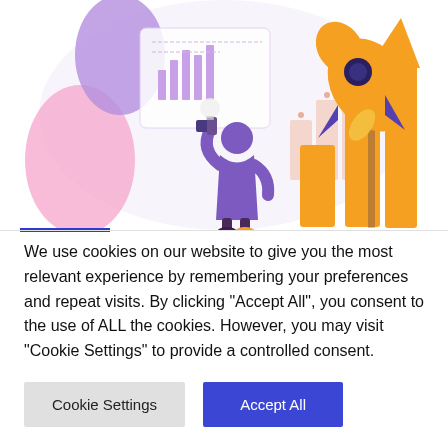[Figure (illustration): Colorful illustration of a person in purple clothing looking at a bar chart/analytics dashboard with an orange rocket launching upward, purple and pink decorative shapes in the background, showing growth and data analytics theme.]
We use cookies on our website to give you the most relevant experience by remembering your preferences and repeat visits. By clicking "Accept All", you consent to the use of ALL the cookies. However, you may visit "Cookie Settings" to provide a controlled consent.
Cookie Settings
Accept All